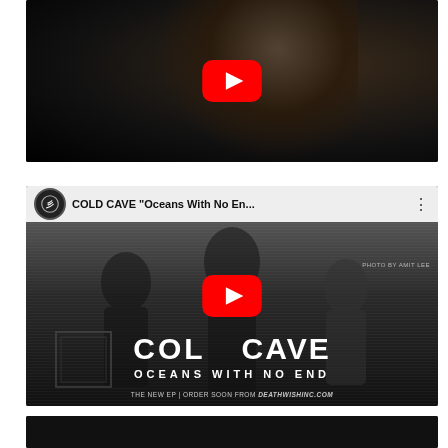[Figure (screenshot): YouTube video thumbnail showing a dark moody photo of a person, with a red YouTube play button centered on the image.]
[Figure (screenshot): YouTube video embed for COLD CAVE 'Oceans With No En...' showing the band name 'COLD CAVE' and subtitle 'OCEANS WITH NO END' in large white text on a dark grainy background, with a YouTube play button, channel icon, and footer text 'THE NEW EP | ORDER SOON FROM deathwishinc.com'. Top bar shows channel logo and video title.]
[Figure (screenshot): Partial dark video thumbnail strip at the bottom of the page.]